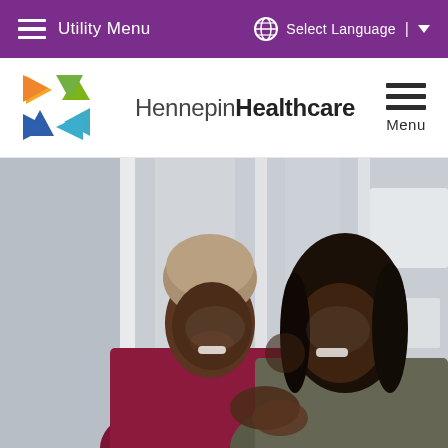Utility Menu | Select Language
[Figure (logo): Hennepin Healthcare logo with colorful star/arrow shapes]
[Figure (photo): Two smiling Black women sitting together, one wearing a head wrap, leaning on the other who has long dark hair. They appear happy and joyful, photographed in an indoor setting with large windows.]